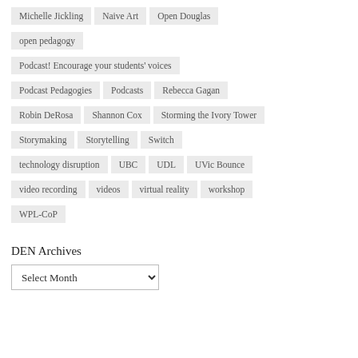Michelle Jickling
Naive Art
Open Douglas
open pedagogy
Podcast! Encourage your students' voices
Podcast Pedagogies
Podcasts
Rebecca Gagan
Robin DeRosa
Shannon Cox
Storming the Ivory Tower
Storymaking
Storytelling
Switch
technology disruption
UBC
UDL
UVic Bounce
video recording
videos
virtual reality
workshop
WPL-CoP
DEN Archives